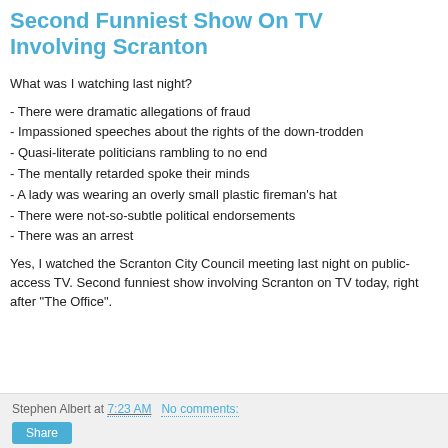Second Funniest Show On TV Involving Scranton
What was I watching last night?
- There were dramatic allegations of fraud
- Impassioned speeches about the rights of the down-trodden
- Quasi-literate politicians rambling to no end
- The mentally retarded spoke their minds
- A lady was wearing an overly small plastic fireman's hat
- There were not-so-subtle political endorsements
- There was an arrest
Yes, I watched the Scranton City Council meeting last night on public-access TV. Second funniest show involving Scranton on TV today, right after "The Office".
Stephen Albert at 7:23 AM   No comments:   Share